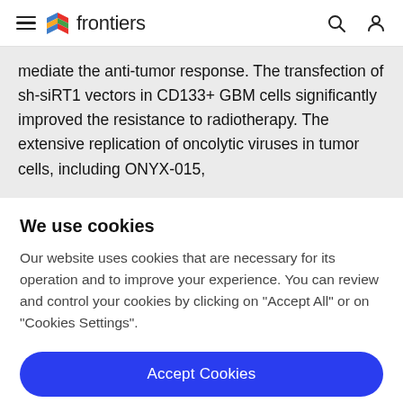frontiers
mediate the anti-tumor response. The transfection of sh-siRT1 vectors in CD133+ GBM cells significantly improved the resistance to radiotherapy. The extensive replication of oncolytic viruses in tumor cells, including ONYX-015,
We use cookies
Our website uses cookies that are necessary for its operation and to improve your experience. You can review and control your cookies by clicking on "Accept All" or on "Cookies Settings".
Accept Cookies
Cookies Settings